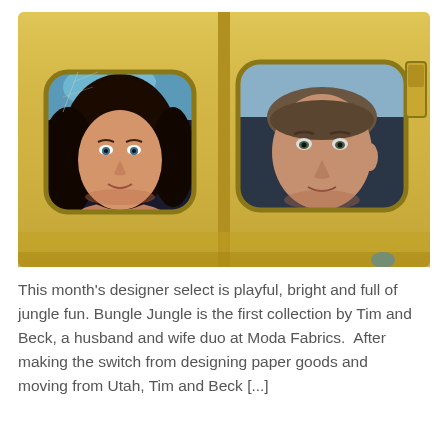[Figure (photo): Two people peering through rounded square windows of a yellow vehicle (possibly a bus or trailer). A woman on the left looks through a broken window, and a man on the right looks through an intact window. The image has a warm, slightly faded photographic tone.]
This month's designer select is playful, bright and full of jungle fun. Bungle Jungle is the first collection by Tim and Beck, a husband and wife duo at Moda Fabrics.  After making the switch from designing paper goods and moving from Utah, Tim and Beck [...]